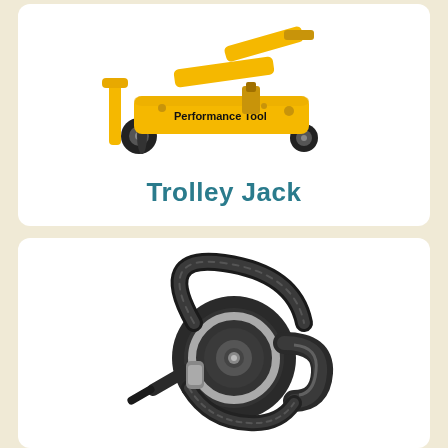[Figure (photo): Yellow Performance Tool trolley/floor jack with black wheels and black details]
Trolley Jack
[Figure (photo): Black handheld car vacuum cleaner with circular hose design and silver accents]